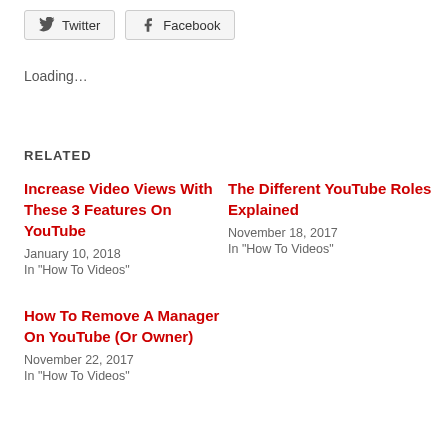Twitter  Facebook
Loading...
RELATED
Increase Video Views With These 3 Features On YouTube
January 10, 2018
In "How To Videos"
The Different YouTube Roles Explained
November 18, 2017
In "How To Videos"
How To Remove A Manager On YouTube (Or Owner)
November 22, 2017
In "How To Videos"